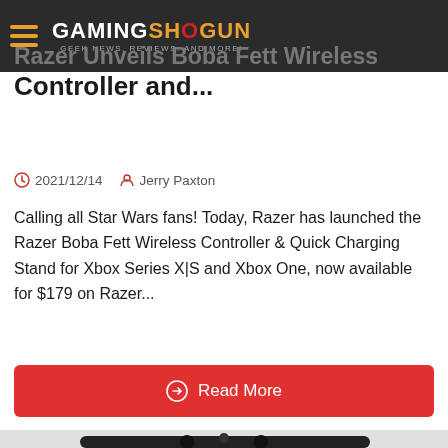Gaming Shogun — GEEK NEWS. REVIEWS. AND MORE!
Razer Unveils Boba Fett Wireless Controller and...
2021/12/14   Jerry Paxton
Calling all Star Wars fans! Today, Razer has launched the Razer Boba Fett Wireless Controller & Quick Charging Stand for Xbox Series X|S and Xbox One, now available for $179 on Razer...
Read More
[Figure (photo): Xbox controller photographed from above on a dark background, showing thumbsticks, bumpers, and Xbox button]